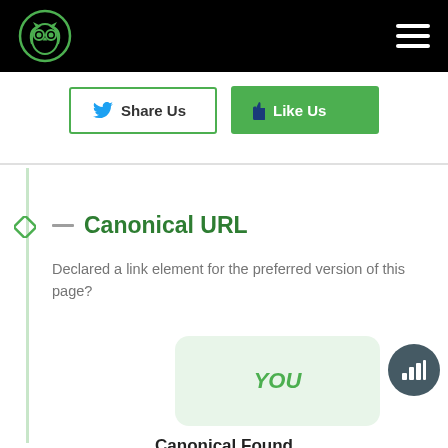[Figure (logo): Owl logo on black navigation bar with hamburger menu icon on right]
[Figure (infographic): Share Us button with Twitter bird icon (white background, green border) and Like Us button with Facebook f icon (green background)]
Canonical URL
Declared a link element for the preferred version of this page?
[Figure (infographic): Light green rounded rectangle box with italic green text 'YOU' inside, labeled 'Canonical Found' below]
Canonical Found